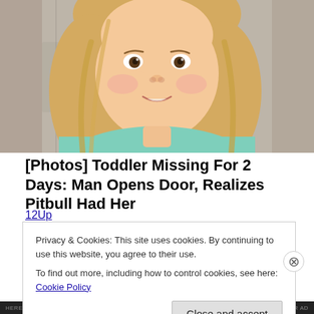[Figure (photo): Close-up photo of a young blonde toddler girl wearing a mint green shirt, smiling slightly, with a weathered wooden background]
[Photos] Toddler Missing For 2 Days: Man Opens Door, Realizes Pitbull Had Her
12Up
Privacy & Cookies: This site uses cookies. By continuing to use this website, you agree to their use.
To find out more, including how to control cookies, see here: Cookie Policy
Close and accept